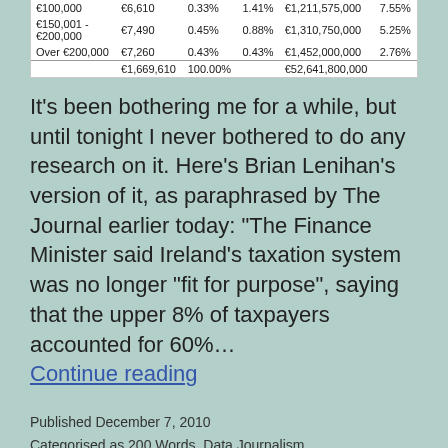|  |  |  |  |  |  |
| --- | --- | --- | --- | --- | --- |
| €100,000 - | €6,610 | 0.33% | 1.41% | €1,211,575,000 | 7.55% |
| €150,001 -
€200,000 | €7,490 | 0.45% | 0.88% | €1,310,750,000 | 5.25% |
| Over €200,000 | €7,260 | 0.43% | 0.43% | €1,452,000,000 | 2.76% |
|  | €1,669,610 | 100.00% |  | €52,641,800,000 |  |
It's been bothering me for a while, but until tonight I never bothered to do any research on it. Here's Brian Lenihan's version of it, as paraphrased by The Journal earlier today: "The Finance Minister said Ireland's taxation system was no longer "fit for purpose", saying that the upper 8% of taxpayers accounted for 60%… Continue reading
Published December 7, 2010
Categorised as 200 Words, Data Journalism